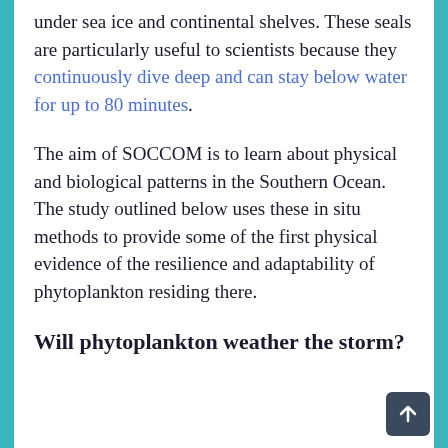under sea ice and continental shelves. These seals are particularly useful to scientists because they continuously dive deep and can stay below water for up to 80 minutes.
The aim of SOCCOM is to learn about physical and biological patterns in the Southern Ocean. The study outlined below uses these in situ methods to provide some of the first physical evidence of the resilience and adaptability of phytoplankton residing there.
Will phytoplankton weather the storm?